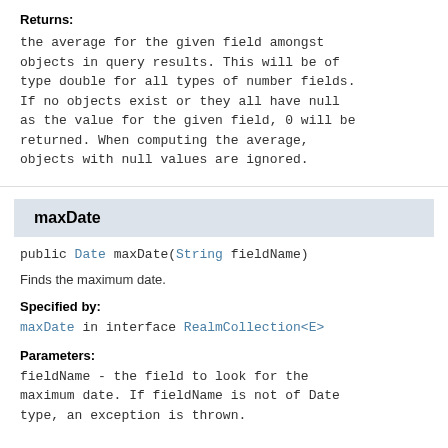Returns: the average for the given field amongst objects in query results. This will be of type double for all types of number fields. If no objects exist or they all have null as the value for the given field, 0 will be returned. When computing the average, objects with null values are ignored.
maxDate
public Date maxDate(String fieldName)
Finds the maximum date.
Specified by:
maxDate in interface RealmCollection<E>
Parameters:
fieldName - the field to look for the maximum date. If fieldName is not of Date type, an exception is thrown.